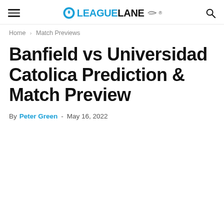LeagueLane
Home › Match Previews
Banfield vs Universidad Catolica Prediction & Match Preview
By Peter Green - May 16, 2022